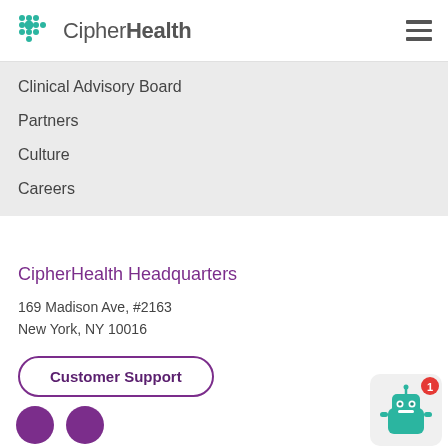CipherHealth
Clinical Advisory Board
Partners
Culture
Careers
CipherHealth Headquarters
169 Madison Ave, #2163
New York, NY 10016
Customer Support
[Figure (illustration): Teal robot chat widget with a notification badge showing '1']